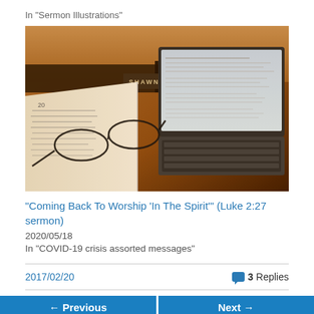In "Sermon Illustrations"
[Figure (photo): A desk scene showing an open book with glasses resting on it, a laptop/tablet showing a document, and a nameplate reading 'SHAWN THOMA' in the background.]
“Coming Back To Worship ‘In The Spirit’” (Luke 2:27 sermon)
2020/05/18
In "COVID-19 crisis assorted messages"
2017/02/20
3 Replies
Previous
Next